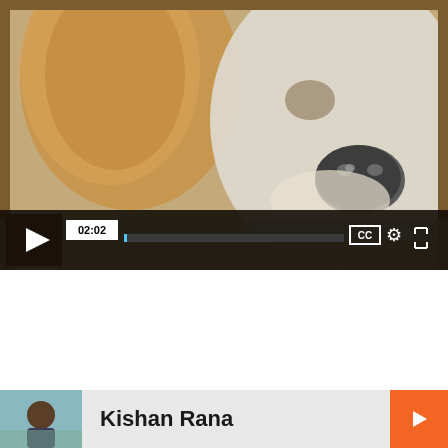[Figure (screenshot): Video player showing a close-up painting/photo of a dog (beagle-like) with large floppy ear visible, lying down, nose prominent. Video controls overlay at bottom: play button, timestamp '02:02', progress bar, CC button, settings gear icon, fullscreen icon.]
[Figure (photo): Partial view of a person (Kishan Rana) at the bottom of the page in a light blue/gray card section.]
Kishan Rana